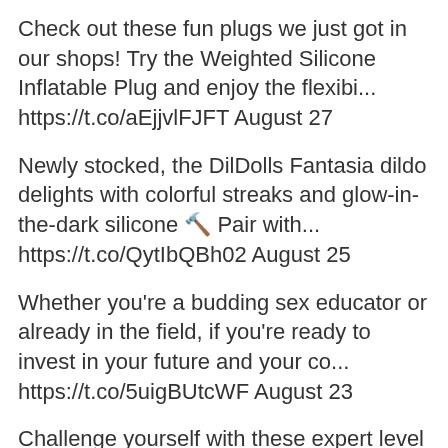Check out these fun plugs we just got in our shops! Try the Weighted Silicone Inflatable Plug and enjoy the flexibi... https://t.co/aEjjvlFJFT August 27
Newly stocked, the DilDolls Fantasia dildo delights with colorful streaks and glow-in-the-dark silicone 🔧 Pair with... https://t.co/QytIbQBh02 August 25
Whether you're a budding sex educator or already in the field, if you're ready to invest in your future and your co... https://t.co/5uigBUtcWF August 23
Challenge yourself with these expert level toys! Designed by world-renowned sex educator Tristan Taormino is the Tr... https://t.co/8LrjKhuP3A August 21
Alright new trainees! You want to prep for butt stuff? 🙂 We've got you covered for beginner-friendly toys!